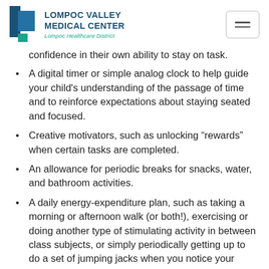[Figure (logo): Lompoc Valley Medical Center logo with blue rectangle icon and teal square, text reads LOMPOC VALLEY MEDICAL CENTER, Lompoc Healthcare District]
confidence in their own ability to stay on task.
A digital timer or simple analog clock to help guide your child’s understanding of the passage of time and to reinforce expectations about staying seated and focused.
Creative motivators, such as unlocking “rewards” when certain tasks are completed.
An allowance for periodic breaks for snacks, water, and bathroom activities.
A daily energy-expenditure plan, such as taking a morning or afternoon walk (or both!), exercising or doing another type of stimulating activity in between class subjects, or simply periodically getting up to do a set of jumping jacks when you notice your child’s attention start to wane.